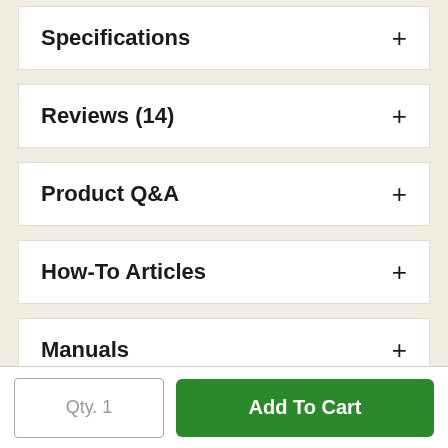Specifications
Reviews (14)
Product Q&A
How-To Articles
Manuals
Qty. 1
Add To Cart